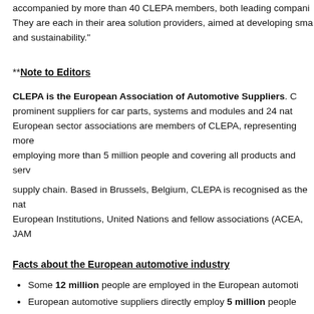accompanied by more than 40 CLEPA members, both leading companies. They are each in their area solution providers, aimed at developing smart and sustainability."
**Note to Editors
CLEPA is the European Association of Automotive Suppliers. Prominent suppliers for car parts, systems and modules and 24 national European sector associations are members of CLEPA, representing more, employing more than 5 million people and covering all products and services supply chain. Based in Brussels, Belgium, CLEPA is recognised as the national European Institutions, United Nations and fellow associations (ACEA, JAM...
Facts about the European automotive industry
Some 12 million people are employed in the European automotive...
European automotive suppliers directly employ 5 million people
European automotive suppliers invest over € 20bn in R&I per year, private investors into research and innovation.
Per year 16 million vehicles are manufactured in Europe...